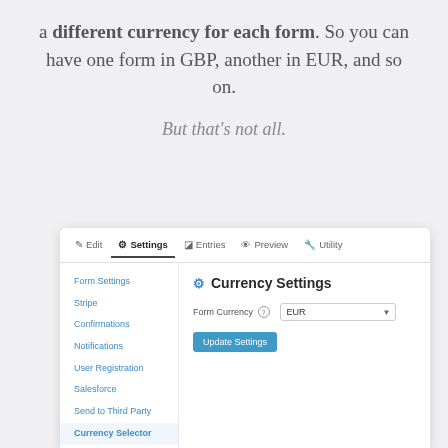a different currency for each form. So you can have one form in GBP, another in EUR, and so on.
But that's not all.
[Figure (screenshot): Screenshot of a form builder Currency Settings panel. Shows tab navigation (Edit, Settings, Entries, Preview, Utility) with Settings active. Left sidebar has links: Form Settings, Stripe, Confirmations, Notifications, User Registration, Salesforce, Send to Third Party, Currency Selector (active). Main panel shows Currency Settings heading with a Form Currency dropdown set to EUR and an Update Settings button.]